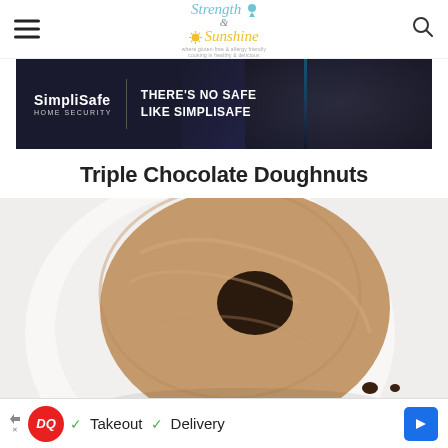Strength & Sunshine — where gluten-free & allergy-friendly cooking is healthy & delicious
[Figure (photo): SimpliSafe Home Security advertisement banner with dark background showing a hand and the text: SimpliSafe HOME SECURITY | THERE'S NO SAFE LIKE SIMPLISAFE]
Triple Chocolate Doughnuts
[Figure (photo): Close-up photo of a chocolate doughnut on a white plate with chocolate chips scattered around it]
[Figure (photo): Dairy Queen advertisement banner: DQ logo with checkmarks next to Takeout and Delivery text, and a blue diamond arrow icon on the right]